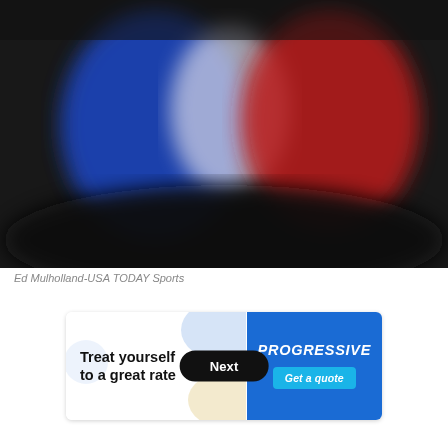[Figure (photo): Blurred sports photo showing figures in blue, white, and red — possibly boxing or combat sport athletes — against a dark background.]
Ed Mulholland-USA TODAY Sports
[Figure (other): Progressive Insurance advertisement banner. Left side (white background): 'Treat yourself to a great rate' with a 'Next' button. Right side (blue background): Progressive logo and 'Get a quote' button.]